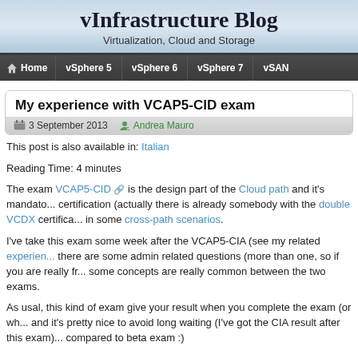vInfrastructure Blog
Virtualization, Cloud and Storage
Home | vSphere 5 | vSphere 6 | vSphere 7 | vSAN
My experience with VCAP5-CID exam
3 September 2013  Andrea Mauro
This post is also available in: Italian
Reading Time: 4 minutes
The exam VCAP5-CID is the design part of the Cloud path and it's mandato... certification (actually there is already somebody with the double VCDX certifica... in some cross-path scenarios.
I've take this exam some week after the VCAP5-CIA (see my related experien... there are some admin related questions (more than one, so if you are really fr... some concepts are really common between the two exams.
As usal, this kind of exam give your result when you complete the exam (or wh... and it's pretty nice to avoid long waiting (I've got the CIA result after this exam)... compared to beta exam :)